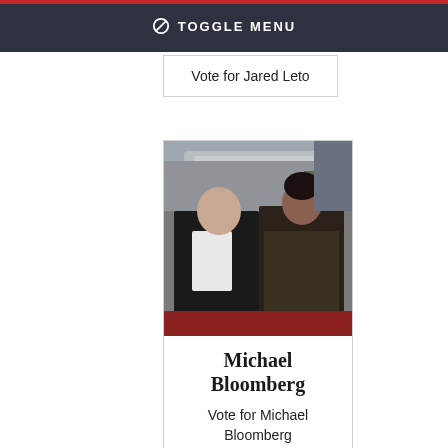TOGGLE MENU
Vote for Jared Leto
[Figure (photo): Two people posing for a photo at a formal event. An older man in a tuxedo and a younger woman in a sequined dark dress.]
Michael Bloomberg
Vote for Michael Bloomberg